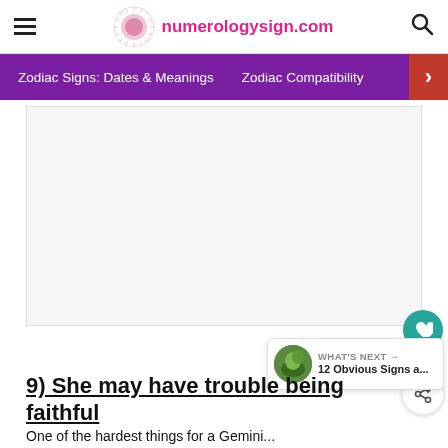numerologysign.com
Zodiac Signs: Dates & Meanings   Zodiac Compatibility
[Figure (other): Advertisement/blank image placeholder area]
9) She may have trouble being faithful
One of the hardest things for a Gemini...